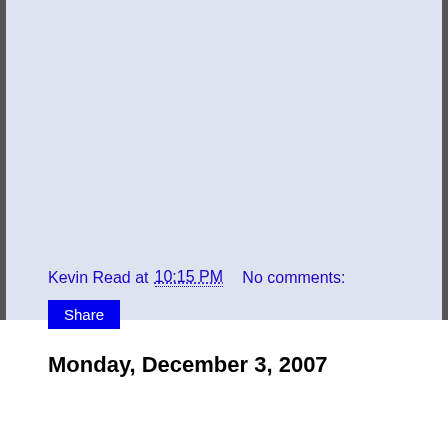Kevin Read at 10:15 PM   No comments:
Share
Monday, December 3, 2007